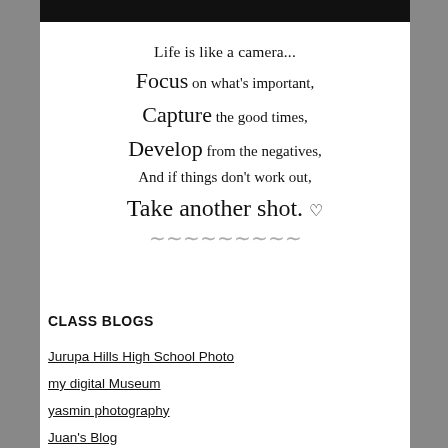[Figure (illustration): Quote graphic on white panel with black header bar. Decorative script and serif text reading: Life is like a camera... Focus on what's important, Capture the good times, Develop from the negatives, And if things don't work out, Take another shot. (with heart and swirl flourish)]
CLASS BLOGS
Jurupa Hills High School Photo
my digital Museum
yasmin photography
Juan's Blog
Kira's Photos
In the Mind of her